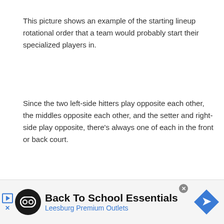This picture shows an example of the starting lineup rotational order that a team would probably start their specialized players in.
Since the two left-side hitters play opposite each other, the middles opposite each other, and the setter and right-side play opposite, there's always one of each in the front or back court.
[Figure (illustration): Volleyball court diagram showing net at top with 'Net' label, and front row positions labeled Right Side, Middle, Left Side below the net in a blue shaded court area.]
[Figure (infographic): Advertisement banner: 'Back To School Essentials - Leesburg Premium Outlets' with logo and navigation icons.]